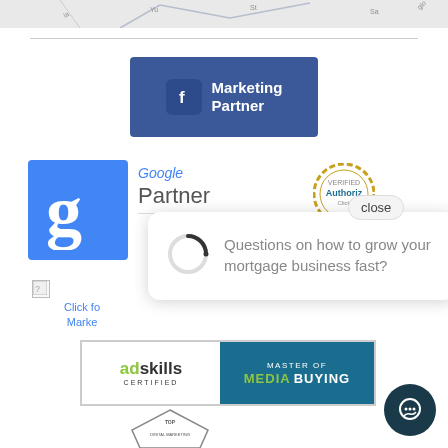[Figure (map): Partial map strip at top of page showing street map]
[Figure (logo): Facebook Marketing Partner badge - blue rectangle with Facebook f icon and text 'Marketing Partner']
[Figure (logo): Google Partner badge - blue G logo and Google Partner text]
[Figure (logo): Authorize.net verified seal]
Click fo
Marke
[Figure (screenshot): Chat popup overlay with spinner and text: Questions on how to grow your mortgage business fast?]
[Figure (logo): Adskills Certified - Master of Media Buying badge]
[Figure (logo): Top Digital Marketing badge (partially visible at bottom)]
[Figure (other): Chat button - dark circular button with speech bubble icon at bottom right]